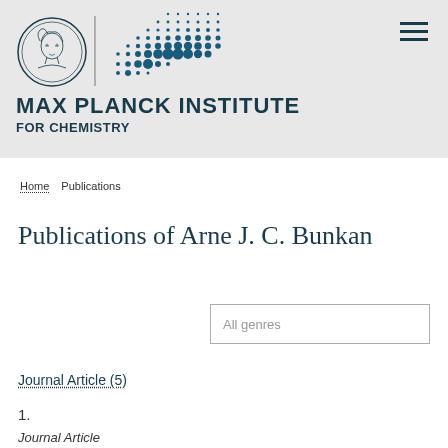MAX PLANCK INSTITUTE FOR CHEMISTRY
Home  Publications
Publications of Arne J. C. Bunkan
All genres
Journal Article (5)
1.
Journal Article